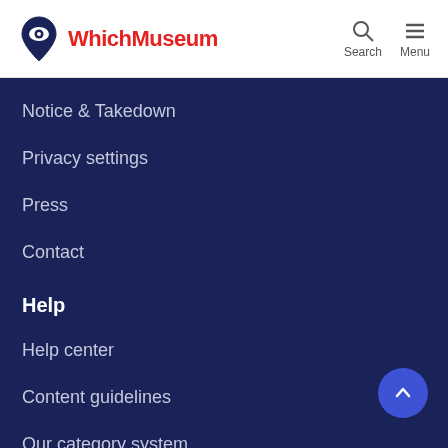WhichMuseum
Notice & Takedown
Privacy settings
Press
Contact
Help
Help center
Content guidelines
Our category system
Useful pages